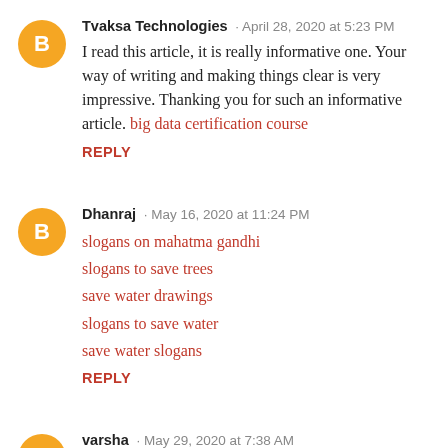Tvaksa Technologies · April 28, 2020 at 5:23 PM
I read this article, it is really informative one. Your way of writing and making things clear is very impressive. Thanking you for such an informative article. big data certification course
REPLY
Dhanraj · May 16, 2020 at 11:24 PM
slogans on mahatma gandhi
slogans to save trees
save water drawings
slogans to save water
save water slogans
REPLY
varsha · May 29, 2020 at 7:38 AM
Thanks for sharing article. The way you have